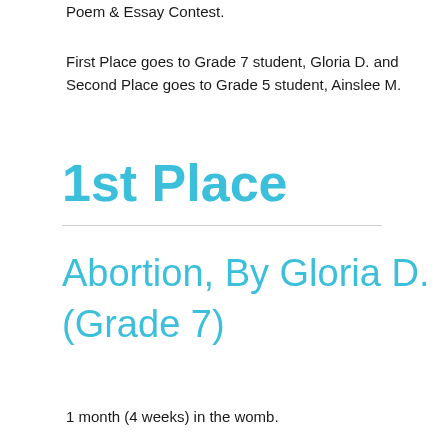Poem & Essay Contest.
First Place goes to Grade 7 student, Gloria D. and Second Place goes to Grade 5 student, Ainslee M.
1st Place
Abortion, By Gloria D. (Grade 7)
1 month (4 weeks) in the womb.